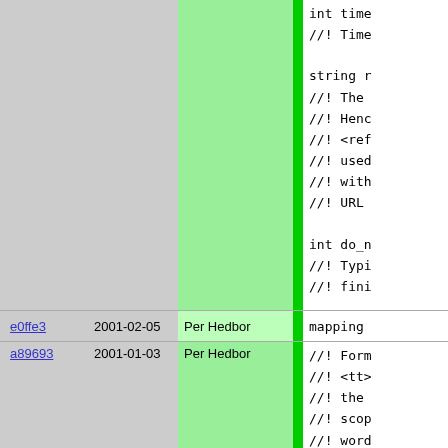| hash | date | author |  | code |
| --- | --- | --- | --- | --- |
|  |  |  |  | int time
//! Time

string r
//! The
//! Henc
//! <ref
//! used
//! with
//! URL

int do_n
//! Typi
//! fini |
| e0ffe3 | 2001-02-05 | Per Hedbor |  | mapping |
| a89693 | 2001-01-03 | Per Hedbor |  | //! Form
//! <tt>
//! the
//! scop
//! word
//! in t
//!
//! The
//! the
//! poss |
| e0ffe3 | 2001-02-05 | Per Hedbor |  | //!
//! The |